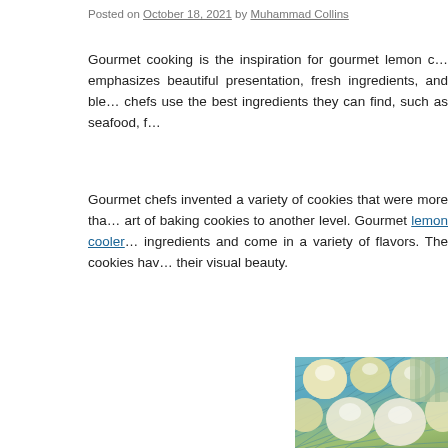Posted on October 18, 2021 by Muhammad Collins
Gourmet cooking is the inspiration for gourmet lemon c… emphasizes beautiful presentation, fresh ingredients, and ble… chefs use the best ingredients they can find, such as seafood, f…
Gourmet chefs invented a variety of cookies that were more tha… art of baking cookies to another level. Gourmet lemon cooler … ingredients and come in a variety of flavors. The cookies hav… their visual beauty.
[Figure (photo): Top-down view of lemon cooler cookies dusted with powdered sugar on a wire cooling rack with a green cloth in the background.]